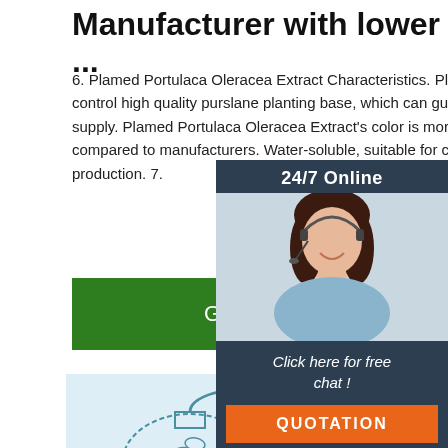Manufacturer with lower ...
6. Plamed Portulaca Oleracea Extract Characteristics. Plamed owns self-control high quality purslane planting base, which can guarantee a stable supply. Plamed Portulaca Oleracea Extract's color is more transparent, compared to manufacturers. Water-soluble, suitable for cosme production. 7.
Get Price
[Figure (infographic): 24/7 Online chat widget with a photo of a customer service representative wearing a headset, and a 'Click here for free chat!' call to action with a QUOTATION button in orange.]
[Figure (engineering-diagram): Line diagram showing plant extraction process with labeled components in Chinese and English: 植物原材料 (Plant raw materials), 冷却管 (Cooling pipe), 散热管 (Radiator tube), 精油 (essential oil), plus a TOP logo in orange/red.]